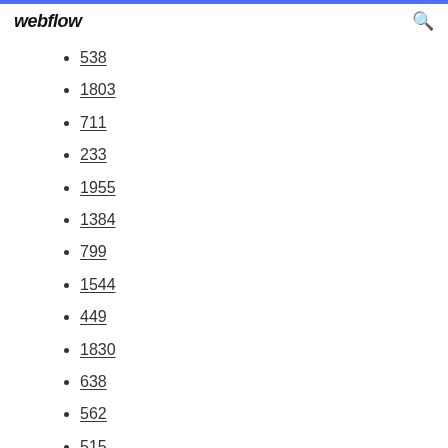webflow
538
1803
711
233
1955
1384
799
1544
449
1830
638
562
515